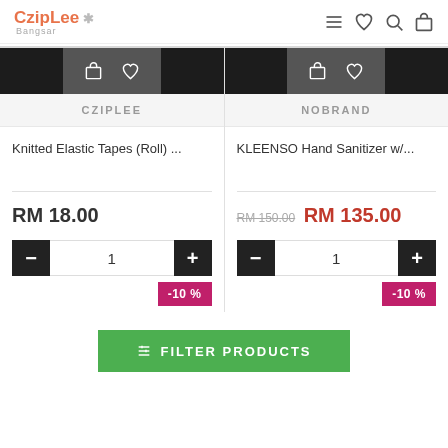CzipLee Bangsar
[Figure (screenshot): Product grid showing two product cards: 'Knitted Elastic Tapes (Roll) ...' priced at RM 18.00 with qty controls and -10% badge, and 'KLEENSO Hand Sanitizer w/...' priced at RM 135.00 (original RM 150.00) with qty controls and -10% badge. Both cards have brand labels CZIPLEE and NOBRAND respectively. A green FILTER PRODUCTS button is at the bottom.]